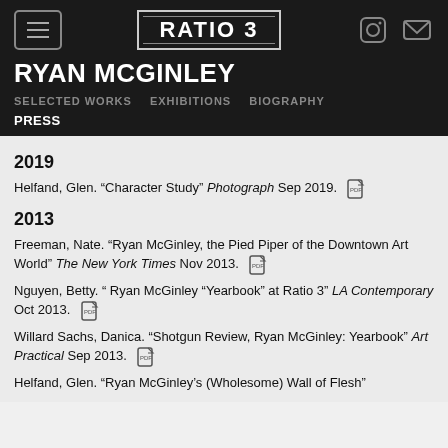RATIO 3
RYAN MCGINLEY
SELECTED WORKS   EXHIBITIONS   BIOGRAPHY
PRESS
2019
Helfand, Glen. “Character Study” Photograph Sep 2019.
2013
Freeman, Nate. “Ryan McGinley, the Pied Piper of the Downtown Art World” The New York Times Nov 2013.
Nguyen, Betty. “ Ryan McGinley "Yearbook" at Ratio 3” LA Contemporary Oct 2013.
Willard Sachs, Danica. “Shotgun Review, Ryan McGinley: Yearbook” Art Practical Sep 2013.
Helfand, Glen. “Ryan McGinley’s (Wholesome) Wall of Flesh”